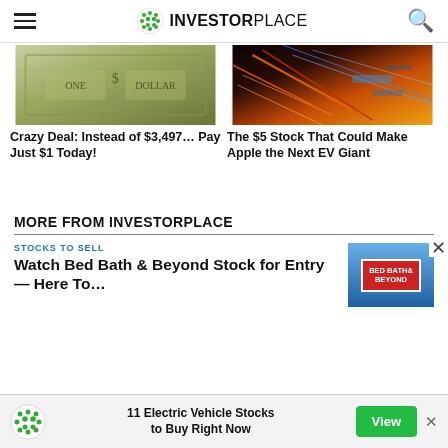INVESTORPLACE
[Figure (photo): Close-up of a US dollar bill engraving]
Crazy Deal: Instead of $3,497… Pay Just $1 Today!
[Figure (photo): Abstract tech circuit board with colorful lights]
The $5 Stock That Could Make Apple the Next EV Giant
MORE FROM INVESTORPLACE
STOCKS TO SELL
Watch Bed Bath & Beyond Stock for Entry — Here To…
[Figure (photo): Bed Bath & Beyond store sign]
11 Electric Vehicle Stocks to Buy Right Now